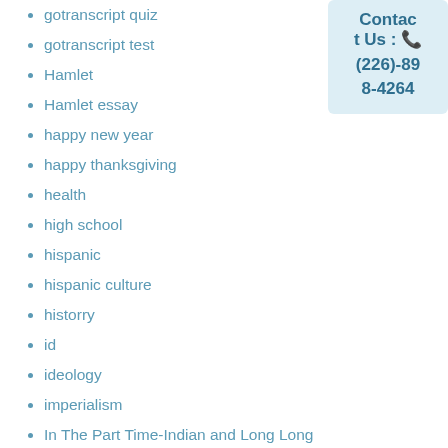gotranscript quiz
gotranscript test
Hamlet
Hamlet essay
happy new year
happy thanksgiving
health
high school
hispanic
hispanic culture
historry
id
ideology
imperialism
In The Part Time-Indian and Long Long after School
India
inhome tutoring
Contact Us : (226)-898-4264